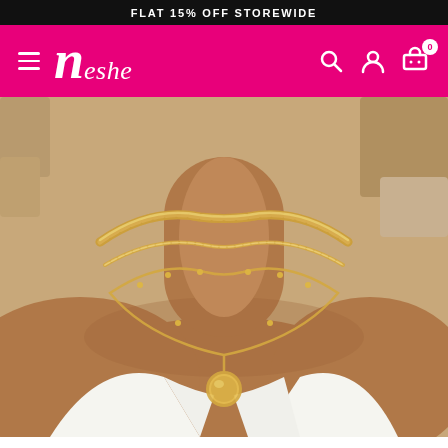FLAT 15% OFF STOREWIDE
[Figure (logo): Neshe brand logo with hamburger menu on pink background with search, account, and cart icons]
[Figure (photo): Close-up photo of a woman wearing three layered gold necklaces: a thick Cuban link chain at top, a medium chain in the middle, and a delicate chain with a round gold coin pendant at the bottom]